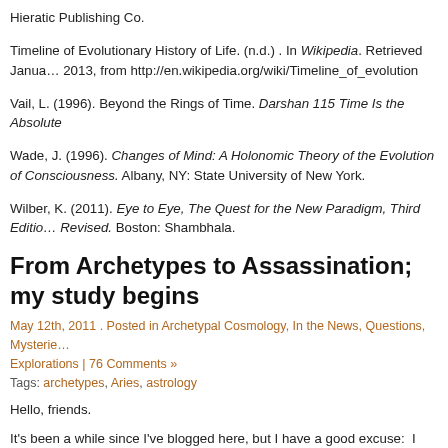Hieratic Publishing Co.
Timeline of Evolutionary History of Life. (n.d.) . In Wikipedia. Retrieved January 2013, from http://en.wikipedia.org/wiki/Timeline_of_evolution
Vail, L. (1996). Beyond the Rings of Time. Darshan 115 Time Is the Absolute
Wade, J. (1996). Changes of Mind: A Holonomic Theory of the Evolution of Consciousness. Albany, NY: State University of New York.
Wilber, K. (2011). Eye to Eye, The Quest for the New Paradigm, Third Edition Revised. Boston: Shambhala.
From Archetypes to Assassination; my study begins
May 12th, 2011 . Posted in Archetypal Cosmology, In the News, Questions, Mysteries, Explorations | 76 Comments »
Tags: archetypes, Aries, astrology
Hello, friends.
It's been a while since I've blogged here, but I have a good excuse:  I started a Master Degree Program with The Graduate Institute in Archetypal Cosmology and Conscious Evolution last week.
Ay, yi, yi, new terms and concepts are jumbling around in my brain at a fierce and furious rate!  So far we've reviewed the history of astrology and how we have arrived at the state the discipline now occupies; the history of psychology (much sho